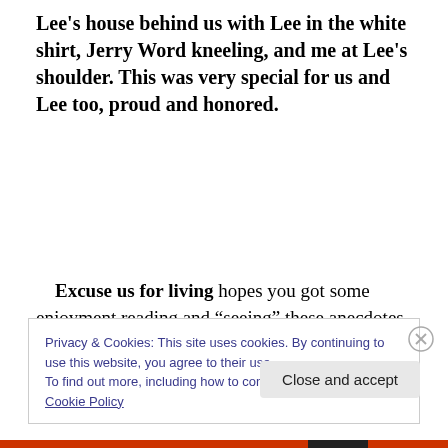Lee's house behind us with Lee in the white shirt, Jerry Word kneeling, and me at Lee's shoulder. This was very special for us and Lee too, proud and honored.
Excuse us for living hopes you got some enjoyment reading and “seeing” these anecdotes from my Vietnam experiences. We worked hard there too at our assigned
Privacy & Cookies: This site uses cookies. By continuing to use this website, you agree to their use.
To find out more, including how to control cookies, see here: Cookie Policy
Close and accept